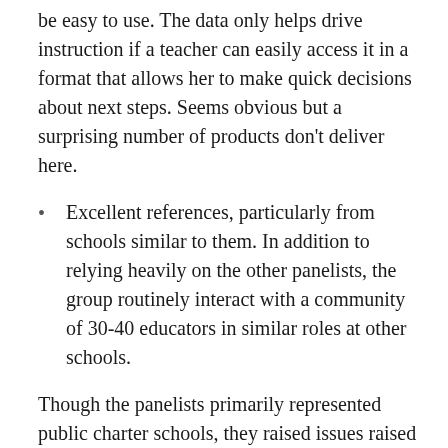be easy to use. The data only helps drive instruction if a teacher can easily access it in a format that allows her to make quick decisions about next steps. Seems obvious but a surprising number of products don’t deliver here.
Excellent references, particularly from schools similar to them. In addition to relying heavily on the other panelists, the group routinely interact with a community of 30-40 educators in similar roles at other schools.
Though the panelists primarily represented public charter schools, they raised issues raised pertinent to any school seeking to identify the most appropriate blended or online content to meet its needs--and, as a consequence, for edtech startups wanting to